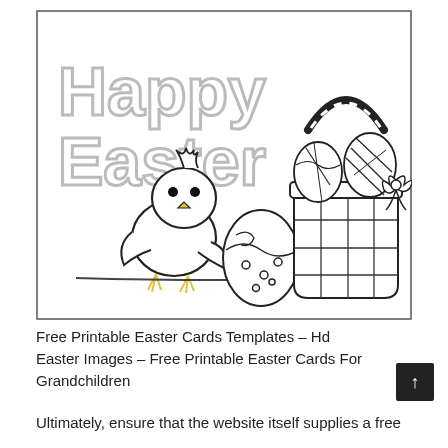[Figure (illustration): Easter coloring page outline drawing. Left side has large outlined block letters 'Happy Easter' in gray. Center-left shows a cartoon baby chick with black dot eyes and small beak. Center-bottom has a decorated Easter egg with polka dots and swirl patterns. Right side shows a large woven Easter basket filled with decorated eggs and a bow. All in black and white line art style, enclosed in a thin rectangular border.]
Free Printable Easter Cards Templates – Hd Easter Images – Free Printable Easter Cards For Grandchildren
Ultimately, ensure that the website itself supplies a free